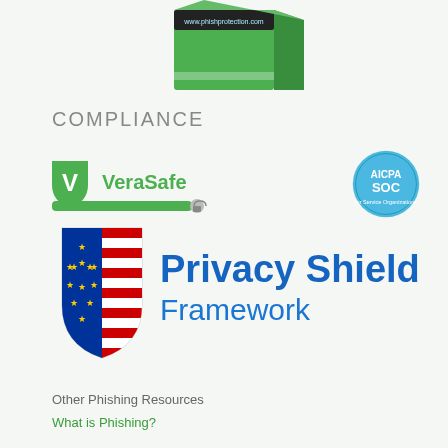[Figure (photo): Product packaging box for PhishProtection with green color and www.phishprotection.com URL visible]
COMPLIANCE
[Figure (logo): VeraSafe logo with green shield and V icon, and a padlock icon on a green bar]
[Figure (logo): AICPA SOC circular blue badge]
[Figure (logo): Privacy Shield Framework logo with EU-US flag shield and blue text]
Other Phishing Resources
What is Phishing?